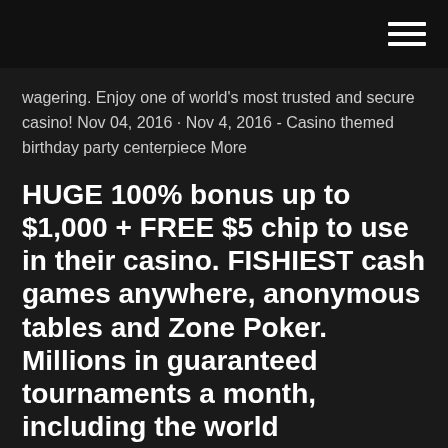wagering. Enjoy one of world’s most trusted and secure casino! Nov 04, 2016 · Nov 4, 2016 - Casino themed birthday party centerpiece More
HUGE 100% bonus up to $1,000 + FREE $5 chip to use in their casino. FISHIEST cash games anywhere, anonymous tables and Zone Poker. Millions in guaranteed tournaments a month, including the world
Min €/$20 Private Casino In Chicago deposit required to claim each deposit bonus as part of the welcome bonus